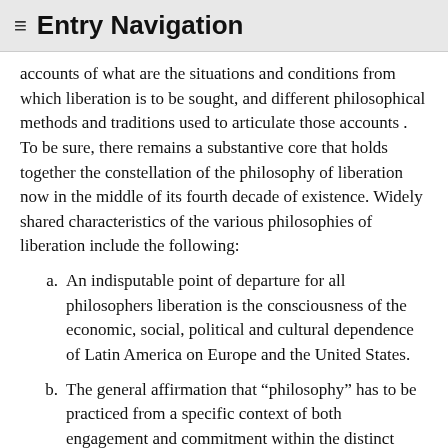≡ Entry Navigation
accounts of what are the situations and conditions from which liberation is to be sought, and different philosophical methods and traditions used to articulate those accounts . To be sure, there remains a substantive core that holds together the constellation of the philosophy of liberation now in the middle of its fourth decade of existence. Widely shared characteristics of the various philosophies of liberation include the following:
a. An indisputable point of departure for all philosophers liberation is the consciousness of the economic, social, political and cultural dependence of Latin America on Europe and the United States.
b. The general affirmation that “philosophy” has to be practiced from a specific context of both engagement and commitment within the distinct Latin American historical and geopolitical situation. The claim is that implicitly or explicitly all philosophizing is always a form of commitment with an existential situation. All philosophers of liberation share the conviction that a philosophy